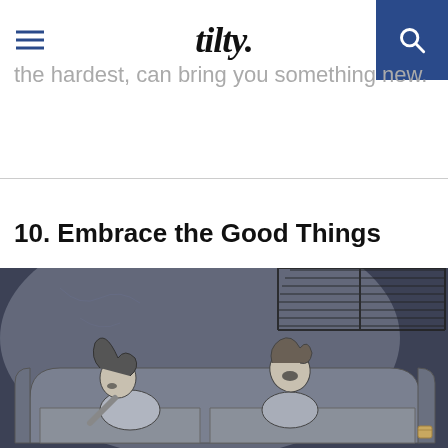tilty.
the hardest, can bring you something new.
10. Embrace the Good Things
[Figure (illustration): Pencil sketch illustration of two people sitting on a couch in a dimly lit room with blinds visible in the upper right corner. One person appears to be leaning toward the other who has their head tilted back, with a small object on the couch armrest.]